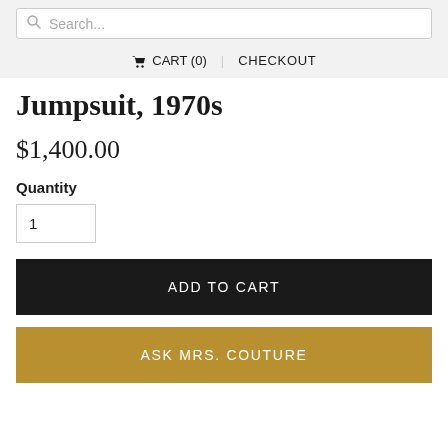Search... | CART (0) | CHECKOUT
Jumpsuit, 1970s
$1,400.00
Quantity
1
ADD TO CART
ASK MRS. COUTURE